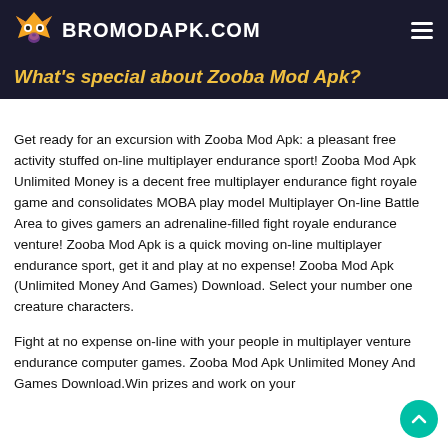BROMODAPK.COM
What's special about Zooba Mod Apk?
Get ready for an excursion with Zooba Mod Apk: a pleasant free activity stuffed on-line multiplayer endurance sport! Zooba Mod Apk Unlimited Money is a decent free multiplayer endurance fight royale game and consolidates MOBA play model Multiplayer On-line Battle Area to gives gamers an adrenaline-filled fight royale endurance venture! Zooba Mod Apk is a quick moving on-line multiplayer endurance sport, get it and play at no expense! Zooba Mod Apk (Unlimited Money And Games) Download. Select your number one creature characters.
Fight at no expense on-line with your people in multiplayer venture endurance computer games. Zooba Mod Apk Unlimited Money And Games Download.Win prizes and work on your